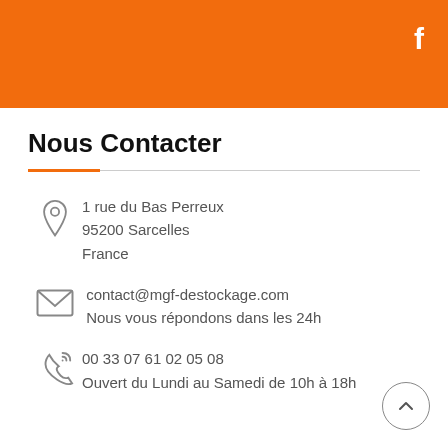f
Nous Contacter
1 rue du Bas Perreux
95200 Sarcelles
France
contact@mgf-destockage.com
Nous vous répondons dans les 24h
00 33 07 61 02 05 08
Ouvert du Lundi au Samedi de 10h à 18h